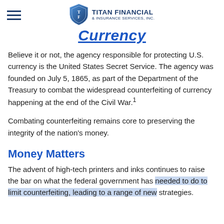TITAN FINANCIAL & INSURANCE SERVICES, INC.
Currency
Believe it or not, the agency responsible for protecting U.S. currency is the United States Secret Service. The agency was founded on July 5, 1865, as part of the Department of the Treasury to combat the widespread counterfeiting of currency happening at the end of the Civil War.¹
Combating counterfeiting remains core to preserving the integrity of the nation's money.
Money Matters
The advent of high-tech printers and inks continues to raise the bar on what the federal government has needed to do to limit counterfeiting, leading to a range of new strategies.